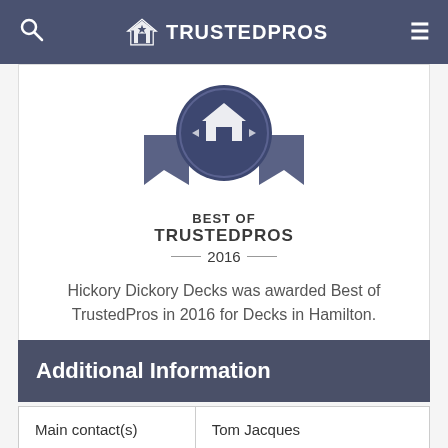TRUSTEDPROS
[Figure (logo): Best of TrustedPros 2016 award badge with ribbon and house icon]
Hickory Dickory Decks was awarded Best of TrustedPros in 2016 for Decks in Hamilton.
Additional Information
| Main contact(s) | Tom Jacques |
| Listed with |  |